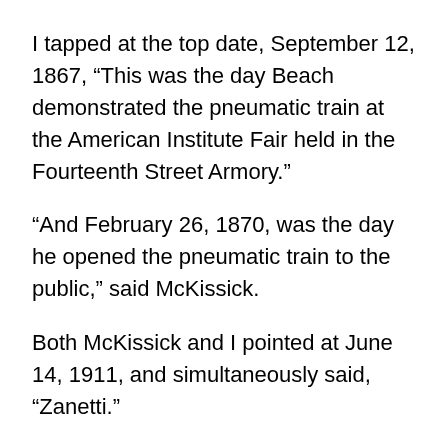I tapped at the top date, September 12, 1867, “This was the day Beach demonstrated the pneumatic train at the American Institute Fair held in the Fourteenth Street Armory.”
“And February 26, 1870, was the day he opened the pneumatic train to the public,” said McKissick.
Both McKissick and I pointed at June 14, 1911, and simultaneously said, “Zanetti.”
“Um, what’s Zanetti?”
“You weren’t subjected to the verisimilituder?” McKissick eyed Madi.
“No, only he was,” she shook her head and thumbed my way.